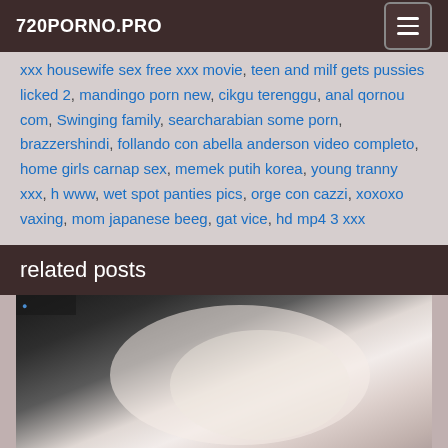720PORNO.PRO
xxx housewife sex free xxx movie, teen and milf gets pussies licked 2, mandingo porn new, cikgu terenggu, anal qornou com, Swinging family, searcharabian some porn, brazzershindi, follando con abella anderson video completo, home girls carnap sex, memek putih korea, young tranny xxx, h www, wet spot panties pics, orge con cazzi, xoxoxo vaxing, mom japanese beeg, gat vice, hd mp4 3 xxx
related posts
[Figure (photo): A thumbnail image showing a close-up of a person's body, partially clothed in dark fabric, against a light background.]